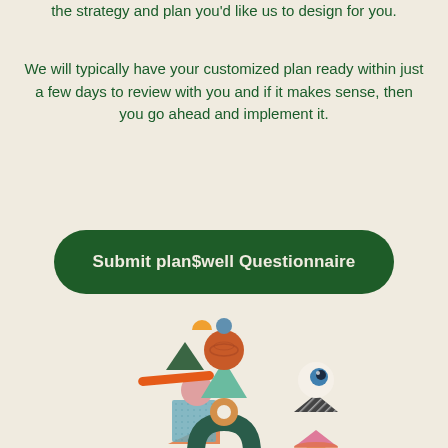the strategy and plan you'd like us to design for you.
We will typically have your customized plan ready within just a few days to review with you and if it makes sense, then you go ahead and implement it.
Submit plan$well Questionnaire
[Figure (illustration): Three colorful abstract balancing sculptures made of geometric shapes including spheres, triangles, cones, tori, and cylinders stacked on top of each other, rendered in 3D.]